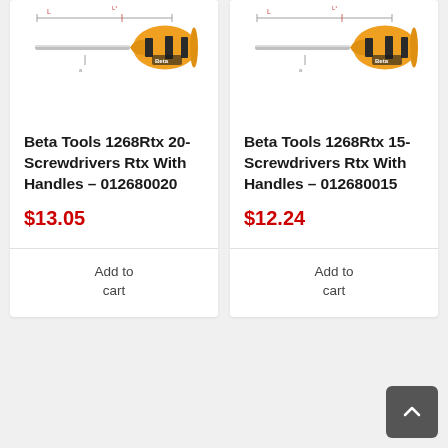[Figure (photo): Beta Tools screwdriver with orange and black handle, technical diagram showing dimensions L and L1]
Beta Tools 1268Rtx 20-Screwdrivers Rtx With Handles – 012680020
$13.05
Add to cart
[Figure (photo): Beta Tools screwdriver with orange and black handle, technical diagram showing dimensions L and L1]
Beta Tools 1268Rtx 15-Screwdrivers Rtx With Handles – 012680015
$12.24
Add to cart